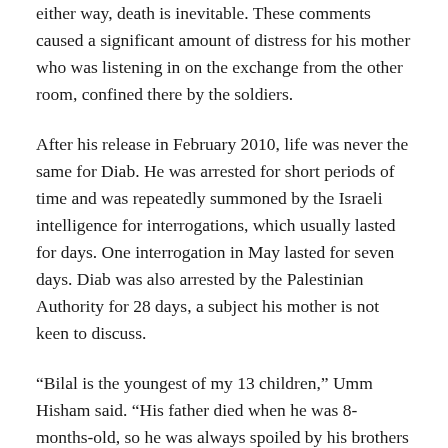either way, death is inevitable. These comments caused a significant amount of distress for his mother who was listening in on the exchange from the other room, confined there by the soldiers.
After his release in February 2010, life was never the same for Diab. He was arrested for short periods of time and was repeatedly summoned by the Israeli intelligence for interrogations, which usually lasted for days. One interrogation in May lasted for seven days. Diab was also arrested by the Palestinian Authority for 28 days, a subject his mother is not keen to discuss.
“Bilal is the youngest of my 13 children,” Umm Hisham said. “His father died when he was 8-months-old, so he was always spoiled by his brothers and sisters. I ask everyone, anyone whose human rights means something to them, to help us,